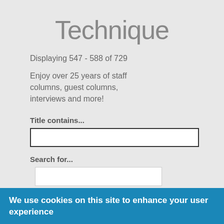Technique
Displaying 547 - 588 of 729
Enjoy over 25 years of staff columns, guest columns, interviews and more!
Title contains...
Search for...
[Figure (screenshot): Orange APPLY button]
We use cookies on this site to enhance your user experience